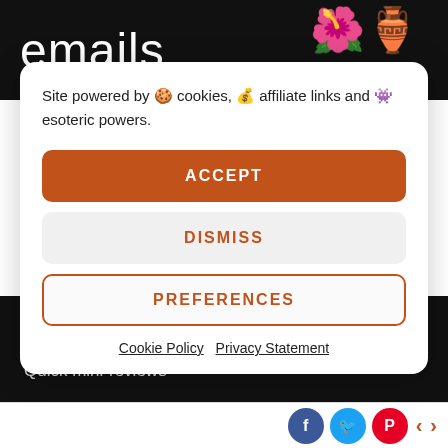[Figure (screenshot): Black banner with white text 'emails' and decorative illustration on right]
Site powered by 🍪 cookies, 💰 affiliate links and 👾 esoteric powers.
ACCEPT
DISMISS
PREFERENCES
Cookie Policy   Privacy Statement
COLUMNS
Quick RPG news summaries
Quick mini-reviews